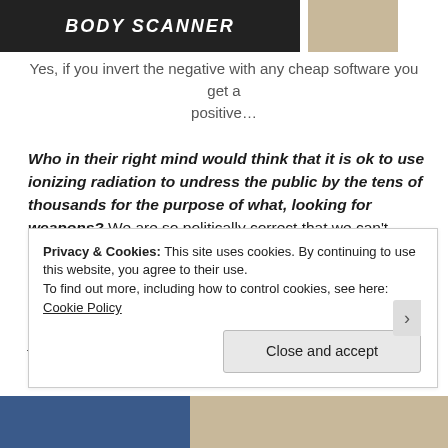[Figure (photo): Top portion of page showing two images: left is a dark image with text 'BODY SCANNER', right is a partial light-toned image]
Yes, if you invert the negative with any cheap software you get a positive…
Who in their right mind would think that it is ok to use ionizing radiation to undress the public by the tens of thousands for the purpose of what, looking for weapons? We are so politically correct that we can't profile but we can strip search the public, grope grandma and feel up children!  Political Correctness is a way to control the masses and not something that we should be doing as a people.  We have free speech, and other than yelling fire in
Privacy & Cookies: This site uses cookies. By continuing to use this website, you agree to their use.
To find out more, including how to control cookies, see here: Cookie Policy
Close and accept